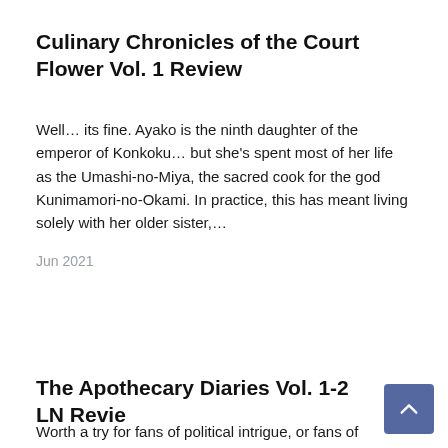Culinary Chronicles of the Court Flower Vol. 1 Review
Well… its fine. Ayako is the ninth daughter of the emperor of Konkoku… but she's spent most of her life as the Umashi-no-Miya, the sacred cook for the god Kunimamori-no-Okami. In practice, this has meant living solely with her older sister,…
Jun 2021
The Apothecary Diaries Vol. 1-2 LN Review
Worth a try for fans of political intrigue, or fans of female-led